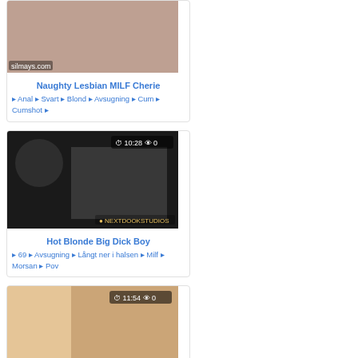[Figure (photo): Thumbnail image for Naughty Lesbian MILF Cherie video]
Naughty Lesbian MILF Cherie
♦ Anal ♦ Svart ♦ Blond ♦ Avsugning ♦ Cum ♦ Cumshot ♦
[Figure (photo): Thumbnail image for Hot Blonde Big Dick Boy video, duration 10:28, 0 views]
Hot Blonde Big Dick Boy
♦ 69 ♦ Avsugning ♦ Långt ner i halsen ♦ Milf ♦ Morsan ♦ Pov
[Figure (photo): Thumbnail image for third video, duration 11:54, 0 views]